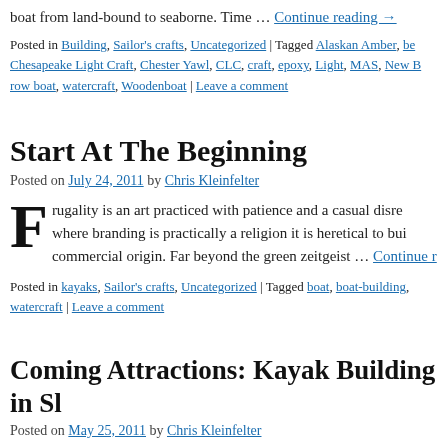boat from land-bound to seaborne. Time … Continue reading →
Posted in Building, Sailor's crafts, Uncategorized | Tagged Alaskan Amber, be… Chesapeake Light Craft, Chester Yawl, CLC, craft, epoxy, Light, MAS, New B… row boat, watercraft, Woodenboat | Leave a comment
Start At The Beginning
Posted on July 24, 2011 by Chris Kleinfelter
Frugality is an art practiced with patience and a casual disre… where branding is practically a religion it is heretical to bui… commercial origin. Far beyond the green zeitgeist … Continue r…
Posted in kayaks, Sailor's crafts, Uncategorized | Tagged boat, boat-building, … watercraft | Leave a comment
Coming Attractions: Kayak Building in Sl…
Posted on May 25, 2011 by Chris Kleinfelter
The observant follower of this blog will have noticed the gla…